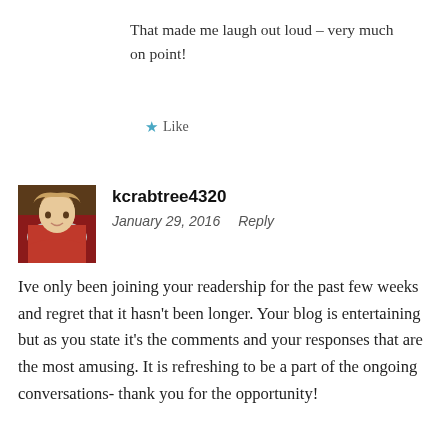That made me laugh out loud – very much on point!
★ Like
kcrabtree4320
January 29, 2016   Reply
Ive only been joining your readership for the past few weeks and regret that it hasn't been longer. Your blog is entertaining but as you state it's the comments and your responses that are the most amusing. It is refreshing to be a part of the ongoing conversations- thank you for the opportunity!